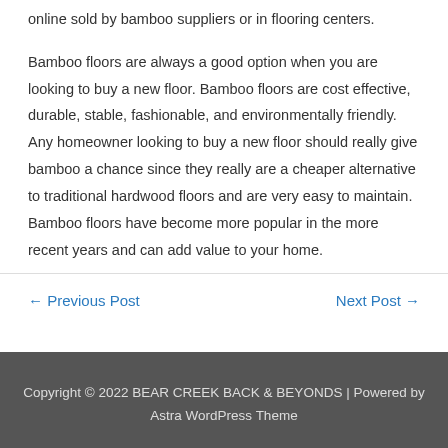online sold by bamboo suppliers or in flooring centers.
Bamboo floors are always a good option when you are looking to buy a new floor. Bamboo floors are cost effective, durable, stable, fashionable, and environmentally friendly. Any homeowner looking to buy a new floor should really give bamboo a chance since they really are a cheaper alternative to traditional hardwood floors and are very easy to maintain. Bamboo floors have become more popular in the more recent years and can add value to your home.
← Previous Post
Next Post →
Copyright © 2022 BEAR CREEK BACK & BEYONDS | Powered by Astra WordPress Theme